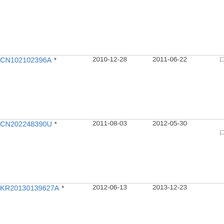| Patent ID | Filing Date | Publication Date | Description |
| --- | --- | --- | --- |
| CN102102396A * | 2010-12-28 | 2011-06-22 | 口口口口 |
| CN202248390U * | 2011-08-03 | 2012-05-30 | 口口口口口口口 |
| KR20130139627A * | 2012-06-13 | 2013-12-23 | 전전전 |
| CN103498526A * | 2013-10-21 | 2014-01-08 | 口口口 |